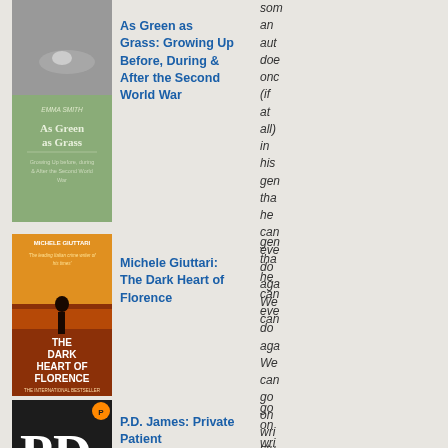[Figure (photo): Book cover of 'As Green as Grass' by Emma Smith, with a black and white photo of a woman on a cobblestone surface.]
As Green as Grass: Growing Up Before, During & After the Second World War
som an aut doe onc (if at all) in his gen tha he can eve do aga We can
[Figure (photo): Book cover of 'The Dark Heart of Florence' by Michele Giuttari, showing a figure standing on a bridge at sunset.]
Michele Giuttari: The Dark Heart of Florence
[Figure (photo): Book cover of 'Private Patient' by P.D. James, showing large PD James text on dark background.]
P.D. James: Private Patient